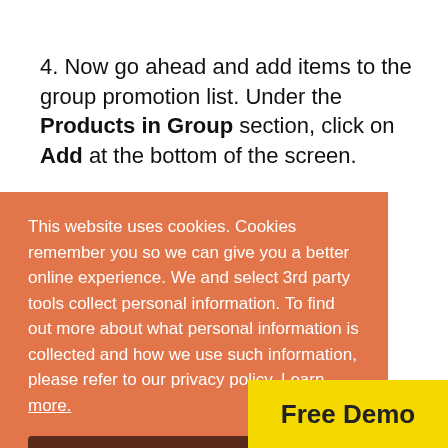4. Now go ahead and add items to the group promotion list. Under the Products in Group section, click on Add at the bottom of the screen.
This website uses cookies. Cookies remember you so we can give you a better online experience. We and select 3rd party tools collect personal information. To find out more about what personal information is collected and how we use such information, please refer to our privacy policy. Learn more.
Okay, thanks
Free Demo